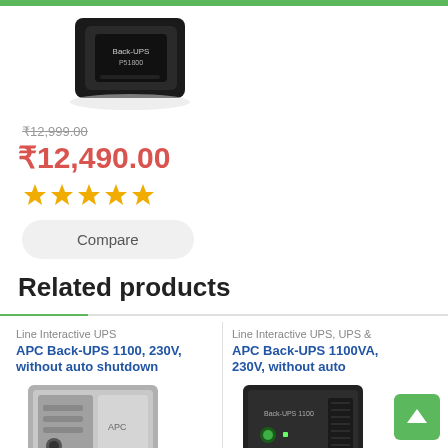[Figure (photo): APC Back-UPS device product image (black, tower form factor)]
₹12,999.00 (strikethrough original price)
₹12,490.00 (sale price in red)
[Figure (other): Five gold star rating]
Compare
Related products
Line Interactive UPS
APC Back-UPS 1100, 230V, without auto shutdown
[Figure (photo): APC Back-UPS 1100 product image - silver/grey tower UPS]
Line Interactive UPS, UPS &
APC Back-UPS 1100VA, 230V, without auto
[Figure (photo): APC Back-UPS 1100VA product image - black tower UPS]